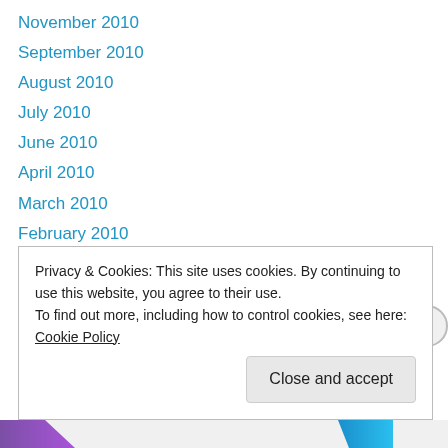November 2010
September 2010
August 2010
July 2010
June 2010
April 2010
March 2010
February 2010
January 2010
December 2009
August 2009
July 2009
June 2009
Privacy & Cookies: This site uses cookies. By continuing to use this website, you agree to their use. To find out more, including how to control cookies, see here: Cookie Policy
Close and accept